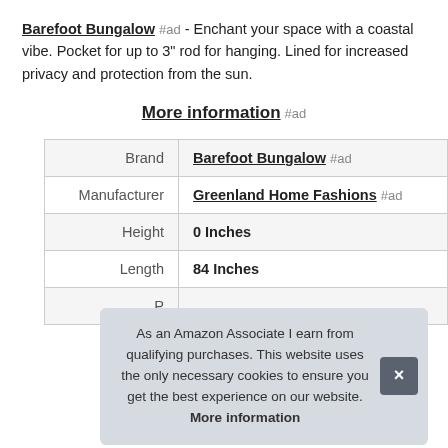Barefoot Bungalow #ad - Enchant your space with a coastal vibe. Pocket for up to 3" rod for hanging. Lined for increased privacy and protection from the sun.
More information #ad
| Brand | Barefoot Bungalow #ad |
| Manufacturer | Greenland Home Fashions #ad |
| Height | 0 Inches |
| Length | 84 Inches |
| P |  |
As an Amazon Associate I earn from qualifying purchases. This website uses the only necessary cookies to ensure you get the best experience on our website. More information